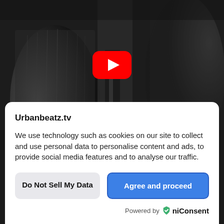[Figure (screenshot): Black and white video thumbnail background with YouTube play button overlay showing partial figures/people in dark tones]
Urbanbeatz.tv
We use technology such as cookies on our site to collect and use personal data to personalise content and ads, to provide social media features and to analyse our traffic.
Do Not Sell My Data
Agree and proceed
Powered by UniConsent